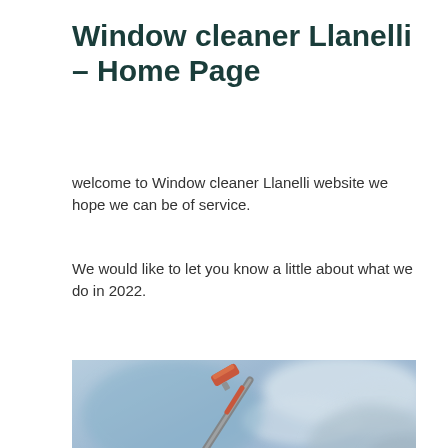Window cleaner Llanelli – Home Page
welcome to Window cleaner Llanelli website we hope we can be of service.
We would like to let you know a little about what we do in 2022.
[Figure (photo): A window cleaning pole with an orange and red squeegee head held up against a blue cloudy sky, with a roofline visible in the lower portion of the image.]